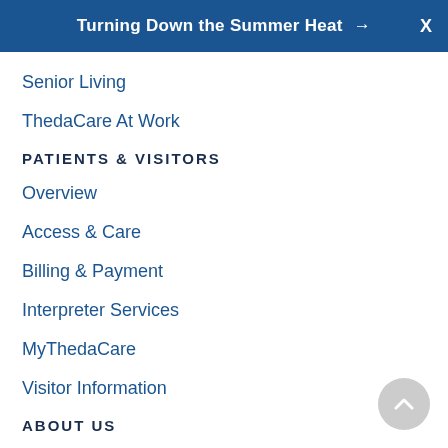Turning Down the Summer Heat → X
Senior Living
ThedaCare At Work
PATIENTS & VISITORS
Overview
Access & Care
Billing & Payment
Interpreter Services
MyThedaCare
Visitor Information
ABOUT US
Overview
Accountable Care Organization
Careers